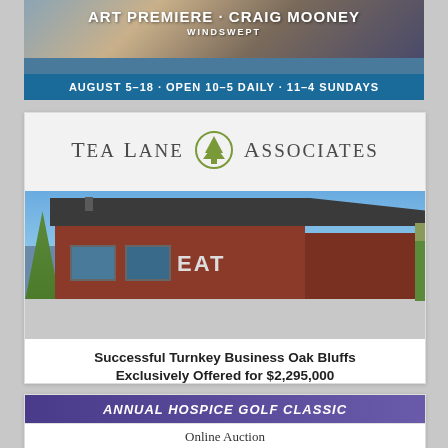[Figure (illustration): Art Premiere advertisement for Craig Mooney 'Windswept' with landscape background image. Text: ART PREMIERE · CRAIG MOONEY / WINDSWEPT / AUGUST 5–18 · OPEN 10–5 DAILY · 11–4 SUNDAYS]
[Figure (illustration): Tea Lane Associates real estate advertisement showing a rustic red building (EAT sign visible) with logo and text: Successful Turnkey Business Oak Bluffs / Exclusively Offered for $2,295,000 / CLICK HERE]
[Figure (illustration): Annual Hospice Golf Classic advertisement with purple header and 'Online Auction' text below]